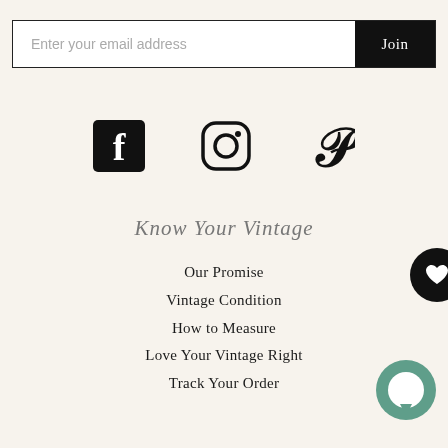Enter your email address
Join
[Figure (infographic): Social media icons: Facebook (black square with 'f'), Instagram (camera outline), Pinterest (cursive 'P')]
Know Your Vintage
Our Promise
Vintage Condition
How to Measure
Love Your Vintage Right
Track Your Order
[Figure (illustration): Black circular button with white heart icon, partially visible at right edge]
[Figure (illustration): Green circular chat bubble button at bottom right]